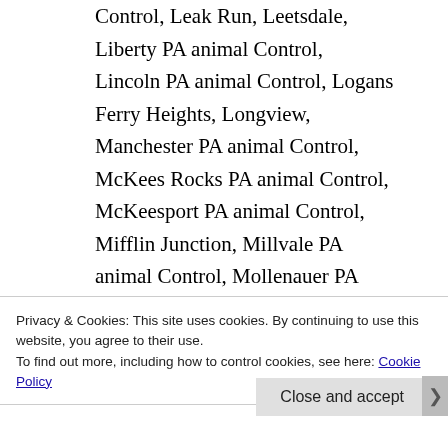Control, Leak Run, Leetsdale, Liberty PA animal Control, Lincoln PA animal Control, Logans Ferry Heights, Longview, Manchester PA animal Control, McKees Rocks PA animal Control, McKeesport PA animal Control, Mifflin Junction, Millvale PA animal Control, Mollenauer PA animal Control, Monroe Heights,
Privacy & Cookies: This site uses cookies. By continuing to use this website, you agree to their use.
To find out more, including how to control cookies, see here: Cookie Policy
Close and accept